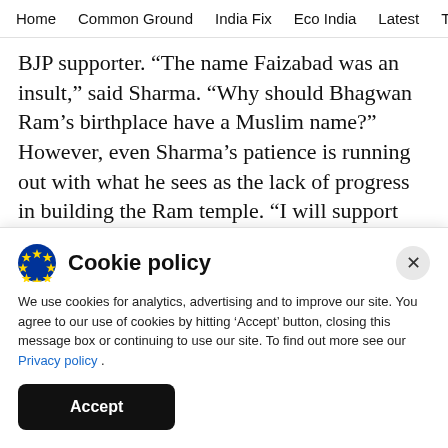Home   Common Ground   India Fix   Eco India   Latest   Th
BJP supporter. “The name Faizabad was an insult,” said Sharma. “Why should Bhagwan Ram’s birthplace have a Muslim name?” However, even Sharma’s patience is running out with what he sees as the lack of progress in building the Ram temple. “I will support the BJP now but if even after this election they do not build the temple, they will lose heavily” warned Sharma. Sharma claims he has…
Cookie policy
We use cookies for analytics, advertising and to improve our site. You agree to our use of cookies by hitting ‘Accept’ button, closing this message box or continuing to use our site. To find out more see our Privacy policy .
Accept